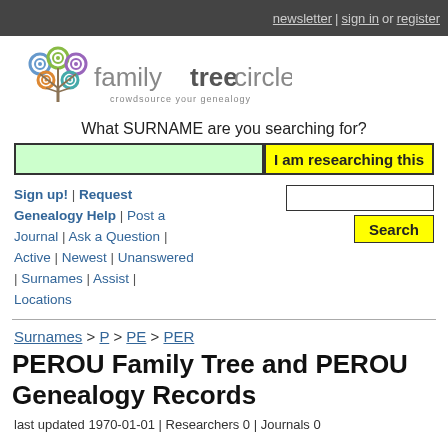newsletter | sign in or register
[Figure (logo): familytreecircles logo with colorful tree/circles icon and text 'familytreecircles crowdsource your genealogy']
What SURNAME are you searching for?
I am researching this
Sign up! | Request Genealogy Help | Post a Journal | Ask a Question | Active | Newest | Unanswered | Surnames | Assist | Locations
Search
Surnames > P > PE > PER
PEROU Family Tree and PEROU Genealogy Records
last updated 1970-01-01 | Researchers 0 | Journals 0